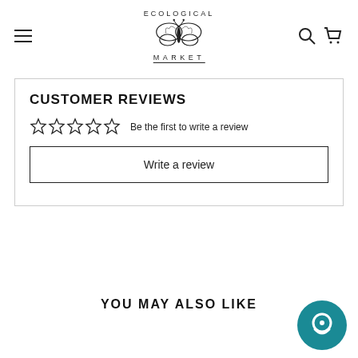ECOLOGICAL MARKET — navigation with hamburger menu, logo, search and cart icons
CUSTOMER REVIEWS
☆☆☆☆☆  Be the first to write a review
Write a review
YOU MAY ALSO LIKE
[Figure (other): Teal chat/messaging button in bottom right corner]